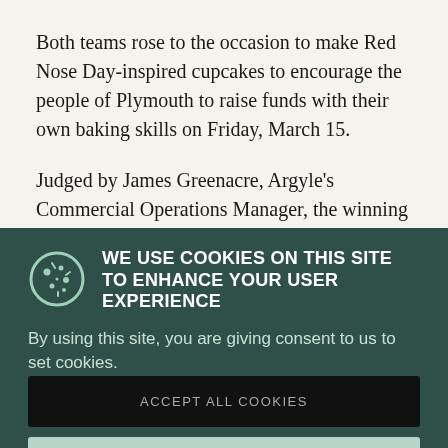Both teams rose to the occasion to make Red Nose Day-inspired cupcakes to encourage the people of Plymouth to raise funds with their own baking skills on Friday, March 15.
Judged by James Greenacre, Argyle's Commercial Operations Manager, the winning team was marked on the quality of the bake, the originality of the...
WE USE COOKIES ON THIS SITE TO ENHANCE YOUR USER EXPERIENCE
By using this site, you are giving consent to us to set cookies.
ACCEPT ALL COOKIES
MORE INFO